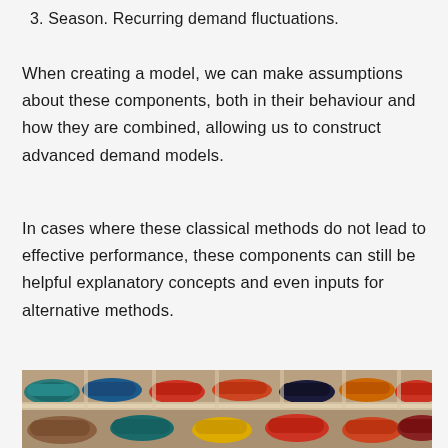3. Season. Recurring demand fluctuations.
When creating a model, we can make assumptions about these components, both in their behaviour and how they are combined, allowing us to construct advanced demand models.
In cases where these classical methods do not lead to effective performance, these components can still be helpful explanatory concepts and even inputs for alternative methods.
[Figure (photo): Rows of colorful leather slippers/shoes (Moroccan babouches) arranged on shelves, showing various colors including teal, red, yellow, orange, navy blue, and brown.]